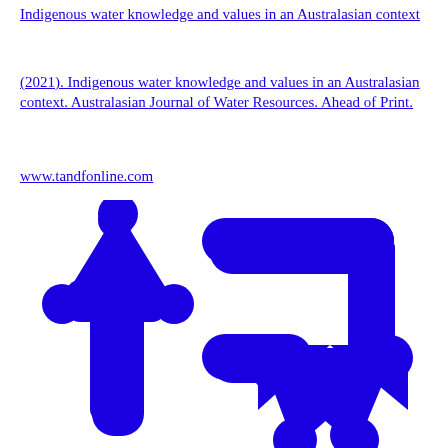Indigenous water knowledge and values in an Australasian context
(2021). Indigenous water knowledge and values in an Australasian context. Australasian Journal of Water Resources. Ahead of Print.
www.tandfonline.com
[Figure (illustration): Blue icon showing an upward arrow on the left and a recycling/refresh square arrow (with a downward arrow component) on the right, both in solid blue on white background.]